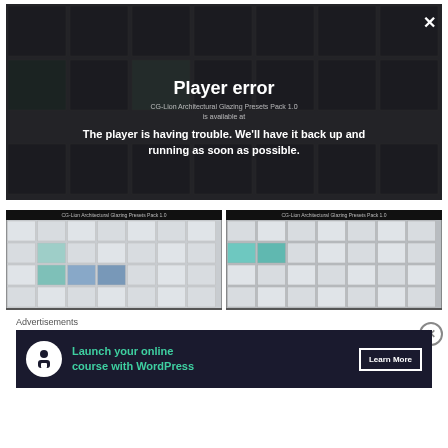[Figure (screenshot): Video player showing 'Player error' overlay. Background shows grid of architectural glazing panel images. Error message reads: 'Player error — The player is having trouble. We'll have it back up and running as soon as possible.' A close (X) button is in the top-right corner.]
[Figure (screenshot): Two thumbnail images side by side of 'CG-Lion Architectural Glazing Presets Pack 1.0' showing grid layouts of glass panel renders.]
Advertisements
[Figure (screenshot): Advertisement banner with dark background. Icon of person at desk. Text: 'Launch your online course with WordPress'. Button: 'Learn More'.]